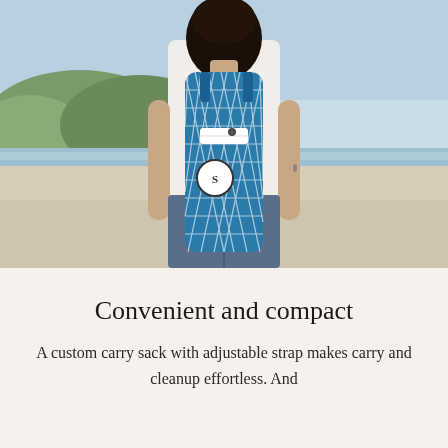[Figure (photo): Person seen from behind wearing a blue geometric-patterned yoga mat carry sack as a backpack, standing on a beach with hills in the background.]
Convenient and compact
A custom carry sack with adjustable strap makes carry and cleanup effortless. And